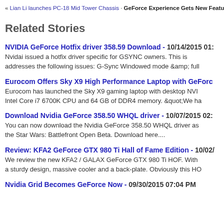« Lian Li launches PC-18 Mid Tower Chassis · GeForce Experience Gets New Features & Lock
Related Stories
NVIDIA GeForce Hotfix driver 358.59 Download - 10/14/2015 01: Nvidai issued a hotfix driver specific for GSYNC owners. This is addresses the following issues: G-Sync Windowed mode &amp; full
Eurocom Offers Sky X9 High Performance Laptop with GeForce Eurocom has launched the Sky X9 gaming laptop with desktop NVI Intel Core i7 6700K CPU and 64 GB of DDR4 memory. &quot;We ha
Download Nvidia GeForce 358.50 WHQL driver - 10/07/2015 02: You can now download the Nvidia GeForce 358.50 WHQL driver as the Star Wars: Battlefront Open Beta. Download here....
Review: KFA2 GeForce GTX 980 Ti Hall of Fame Edition - 10/02/ We review the new KFA2 / GALAX GeForce GTX 980 Ti HOF. With a sturdy design, massive cooler and a back-plate. Obviously this HO
Nvidia Grid Becomes GeForce Now - 09/30/2015 07:04 PM